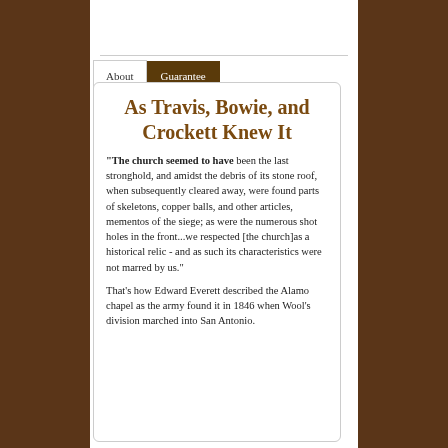As Travis, Bowie, and Crockett Knew It
"The church seemed to have been the last stronghold, and amidst the debris of its stone roof, when subsequently cleared away, were found parts of skeletons, copper balls, and other articles, mementos of the siege; as were the numerous shot holes in the front...we respected [the church]as a historical relic - and as such its characteristics were not marred by us."
That's how Edward Everett described the Alamo chapel as the army found it in 1846 when Wool's division marched into San Antonio.